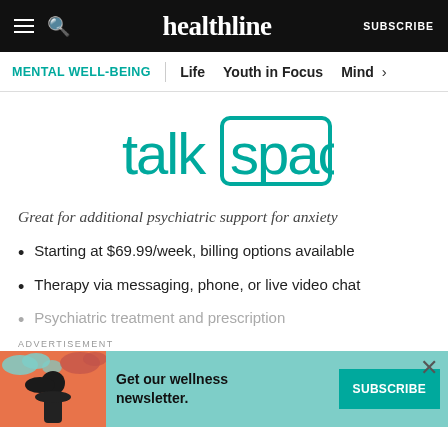healthline | MENTAL WELL-BEING | Life | Youth in Focus | Mind
[Figure (logo): Talkspace logo in teal/green color with 'talk' in lowercase and 'space' inside a rounded rectangle border]
Great for additional psychiatric support for anxiety
Starting at $69.99/week, billing options available
Therapy via messaging, phone, or live video chat
Psychiatric treatment and prescription
[Figure (infographic): Advertisement banner with teal background, illustrated woman with dark hair on orange/red background on the left, text 'Get our wellness newsletter.' in center, and a teal SUBSCRIBE button on the right]